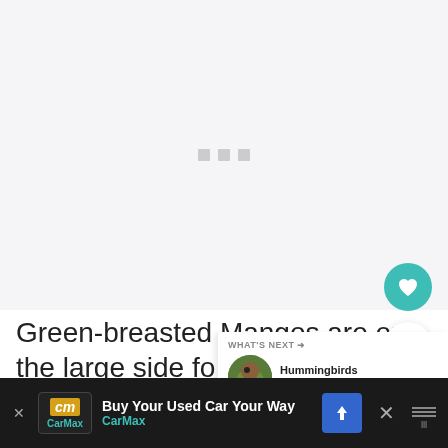[Figure (photo): Large image area showing a bird photo that is loading or not fully rendered, with a light gray background and three small gray squares as loading indicators in the center.]
Green-breasted Mangos are on the large side for hummingbirds, and look similar in appearance to Mexican Violetears. They have long, curved bills and green plumage
[Figure (photo): WHAT'S NEXT overlay panel showing a small circular bird photo and text 'Hummingbirds in Michigan ...']
[Figure (screenshot): Advertisement bar at bottom: CarMax - Buy Your Used Car Your Way]